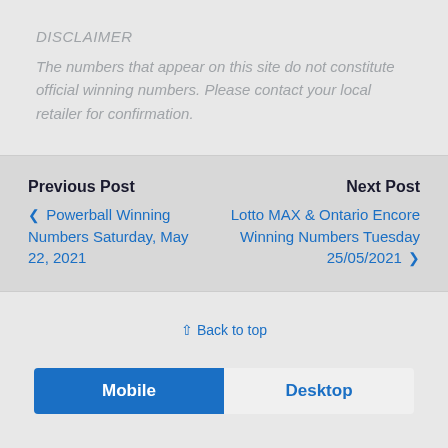DISCLAIMER
The numbers that appear on this site do not constitute official winning numbers. Please contact your local retailer for confirmation.
Previous Post
‹ Powerball Winning Numbers Saturday, May 22, 2021
Next Post
Lotto MAX & Ontario Encore Winning Numbers Tuesday 25/05/2021 ›
⇑ Back to top
Mobile | Desktop